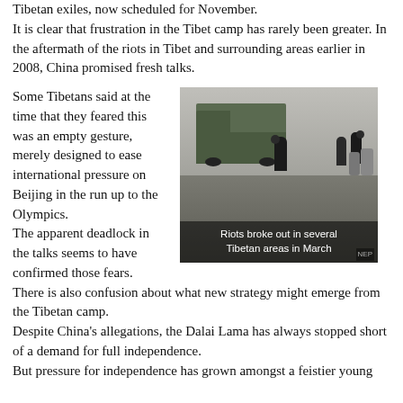Tibetan exiles, now scheduled for November.
It is clear that frustration in the Tibet camp has rarely been greater. In the aftermath of the riots in Tibet and surrounding areas earlier in 2008, China promised fresh talks.
[Figure (photo): People running during riots, with a military truck in the background. Caption reads: Riots broke out in several Tibetan areas in March]
Some Tibetans said at the time that they feared this was an empty gesture, merely designed to ease international pressure on Beijing in the run up to the Olympics.
The apparent deadlock in the talks seems to have confirmed those fears.
There is also confusion about what new strategy might emerge from the Tibetan camp.
Despite China's allegations, the Dalai Lama has always stopped short of a demand for full independence.
But pressure for independence has grown amongst a feistier young